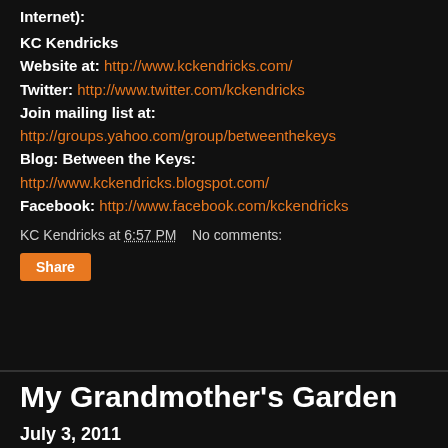Internet):
KC Kendricks
Website at: http://www.kckendricks.com/
Twitter: http://www.twitter.com/kckendricks
Join mailing list at:
http://groups.yahoo.com/group/betweenthekeys
Blog: Between the Keys:
http://www.kckendricks.blogspot.com/
Facebook: http://www.facebook.com/kckendricks
KC Kendricks at 6:57 PM   No comments:
Share
My Grandmother's Garden
July 3, 2011
Last year I wrote a post about the reblooming of my